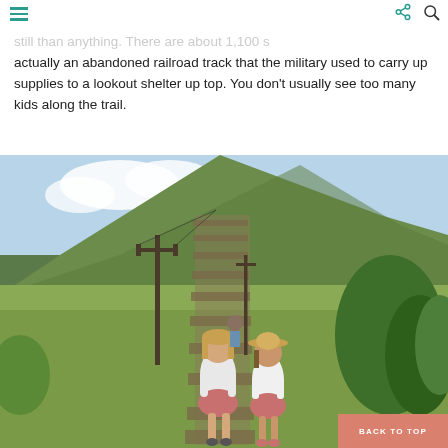[ hamburger menu ] ... [ share icon ] [ search icon ]
still than anything.  There are about 1,100 s... actually an abandoned railroad track that the military used to carry up supplies to a lookout shelter up top.  You don't usually see too many kids along the trail.
[Figure (photo): Two young girls walking up a steep outdoor staircase trail (Koko Head Crater trail), with utility poles and a green hillside in the background. A 'BACK TO TOP' button overlay appears in the lower right.]